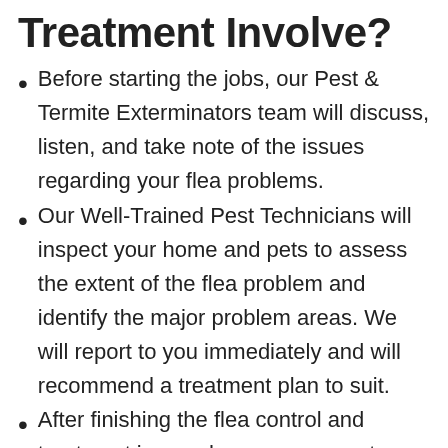Treatment Involve?
Before starting the jobs, our Pest & Termite Exterminators team will discuss, listen, and take note of the issues regarding your flea problems.
Our Well-Trained Pest Technicians will inspect your home and pets to assess the extent of the flea problem and identify the major problem areas. We will report to you immediately and will recommend a treatment plan to suit.
After finishing the flea control and treatment in your home, our expert